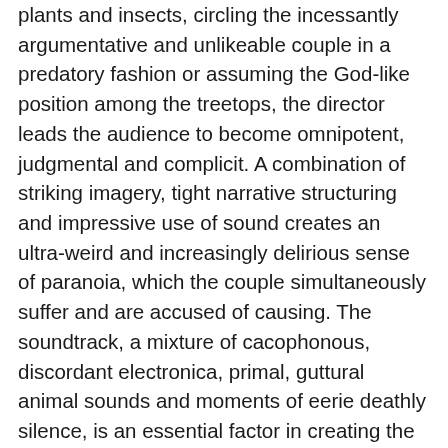plants and insects, circling the incessantly argumentative and unlikeable couple in a predatory fashion or assuming the God-like position among the treetops, the director leads the audience to become omnipotent, judgmental and complicit. A combination of striking imagery, tight narrative structuring and impressive use of sound creates an ultra-weird and increasingly delirious sense of paranoia, which the couple simultaneously suffer and are accused of causing. The soundtrack, a mixture of cacophonous, discordant electronica, primal, guttural animal sounds and moments of eerie deathly silence, is an essential factor in creating the tension, off-kilter atmosphere and sense of symbiosis in the film. A repeated aural motif is used to link the differing elements - when one creature or plant is hurt or destroyed an anguished howl of pain/rage is heard coming from elsewhere in the environment. The supposedly dead sea cow exemplifies the disturbing and uncanny events, dragging itself incrementally up the beach and into the couple's campsite, invading their territory as they have invaded nature's.